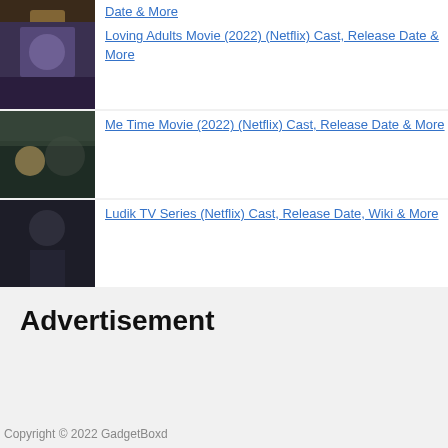Date & More (partial, top clipped)
Loving Adults Movie (2022) (Netflix) Cast, Release Date & More
Me Time Movie (2022) (Netflix) Cast, Release Date & More
Ludik TV Series (Netflix) Cast, Release Date, Wiki & More
Advertisement
Copyright © 2022 GadgetBoxd